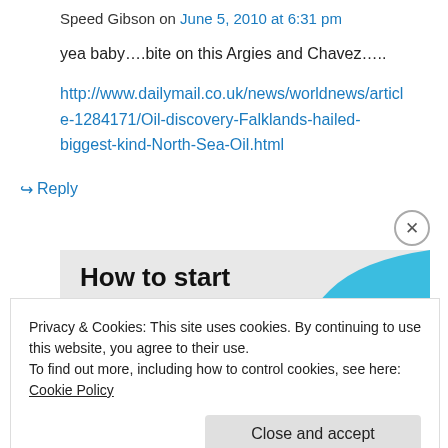Speed Gibson on June 5, 2010 at 6:31 pm
yea baby….bite on this Argies and Chavez…..
http://www.dailymail.co.uk/news/worldnews/article-1284171/Oil-discovery-Falklands-hailed-biggest-kind-North-Sea-Oil.html
↪ Reply
[Figure (illustration): Advertisement banner: How to start selling subscriptions online, with blue teardrop shape on right]
Privacy & Cookies: This site uses cookies. By continuing to use this website, you agree to their use. To find out more, including how to control cookies, see here: Cookie Policy
Close and accept